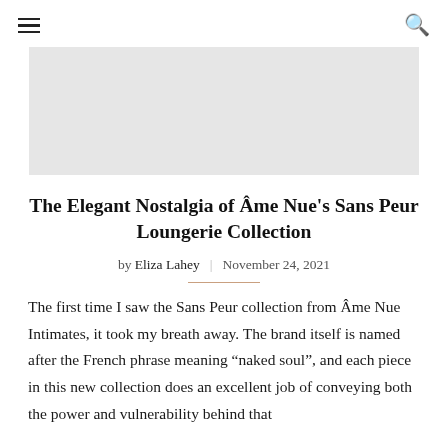≡  🔍
[Figure (photo): Gray placeholder hero image area]
The Elegant Nostalgia of Âme Nue's Sans Peur Loungerie Collection
by Eliza Lahey  |  November 24, 2021
The first time I saw the Sans Peur collection from Âme Nue Intimates, it took my breath away. The brand itself is named after the French phrase meaning "naked soul", and each piece in this new collection does an excellent job of conveying both the power and vulnerability behind that